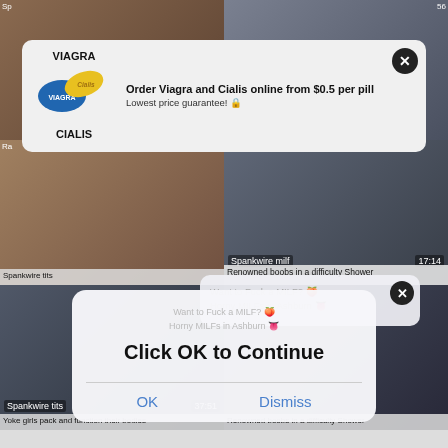[Figure (screenshot): Background grid of adult video thumbnails with labels 'Sp', 'Ra', 'Spankwire tits 37:51', 'Spankwire milf 17:14', video titles 'Yoke girls pack and function their bodies' and 'Renowned boobs in a difficulty Shower']
[Figure (screenshot): Popup advertisement: VIAGRA and CIALIS pills image. Text: 'Order Viagra and Cialis online from $0.5 per pill. Lowest price guarantee!' with close X button.]
[Figure (screenshot): Second popup ad with text 'Want to Fuck a MILF?' and close button, partially obscured by main dialog.]
[Figure (screenshot): Browser dialog overlay: 'Click OK to Continue' with OK and Dismiss buttons]